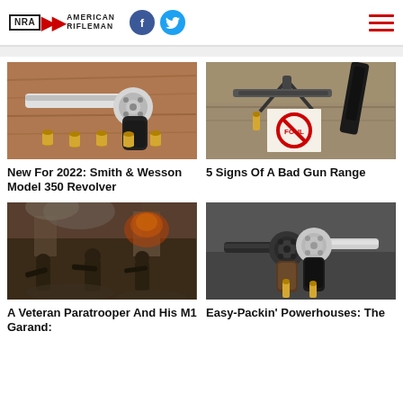NRA American Rifleman — with Facebook and Twitter social icons and hamburger menu
[Figure (photo): Smith & Wesson revolver with ammunition on a wooden surface]
New For 2022: Smith & Wesson Model 350 Revolver
[Figure (photo): Rifle on a shooting bench with a target showing a 'No' stamp, indicating a bad gun range]
5 Signs Of A Bad Gun Range
[Figure (photo): Historical painting of a veteran paratrooper in WWII battle scene with M1 Garand]
A Veteran Paratrooper And His M1 Garand:
[Figure (photo): Two compact revolvers facing each other on a dark surface with ammunition]
Easy-Packin' Powerhouses: The